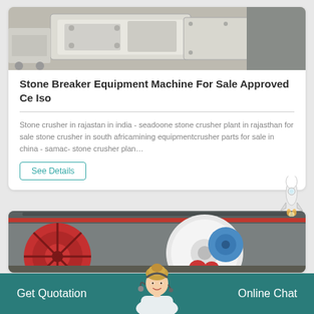[Figure (photo): Industrial stone crusher/breaker machine — white/cream colored heavy equipment, photographed in a workshop or yard setting]
Stone Breaker Equipment Machine For Sale Approved Ce Iso
Stone crusher in rajastan in india - seadoone stone crusher plant in rajasthan for sale stone crusher in south africamining equipmentcrusher parts for sale in china - samac- stone crusher plan…
See Details
[Figure (photo): Industrial mill/roller machinery in a large factory hall — red and white large rotating drums/rollers with crane overhead]
Get Quotation    Online Chat